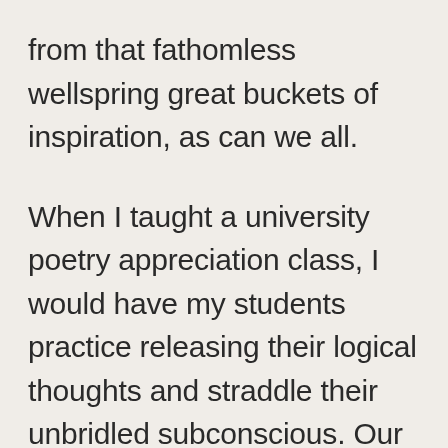from that fathomless wellspring great buckets of inspiration, as can we all.
When I taught a university poetry appreciation class, I would have my students practice releasing their logical thoughts and straddle their unbridled subconscious. Our true self roams beneath the surface of our public persona. Creation is the